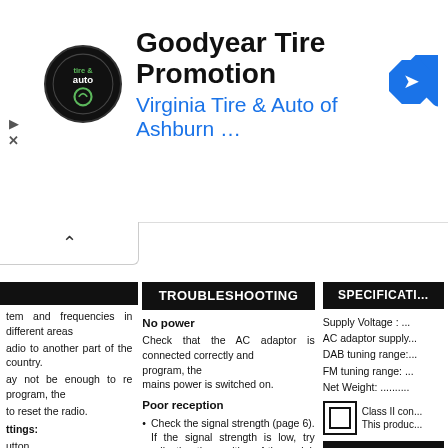[Figure (screenshot): Advertisement banner for Goodyear Tire Promotion from Virginia Tire & Auto of Ashburn, with circular logo, title text, blue subtitle, and blue diamond arrow icon. Play and close controls visible on left.]
TROUBLESHOOTING
No power
Check that the AC adaptor is connected correctly and program, the mains power is switched on.
Poor reception
Check the signal strength (page 6). If the signal strength is low, try adjusting the position of the aerial. If this doesn't help, move the radio to a position where the signal strength is better.
Alarm not sounding
Check that the alarm(s) have been set correc...
SPECIFICATI...
Supply Voltage : ...
AC adaptor supply...
DAB tuning range:...
FM tuning range: ...
Net Weight: ..........
tem and frequencies in different areas
idio to another part of the country.
ay not be enough to re program, the
to reset the radio.
ttings:
utton.
ton the display.
ton repeatedly FACTORY
ay.
5n.
WARRANTY